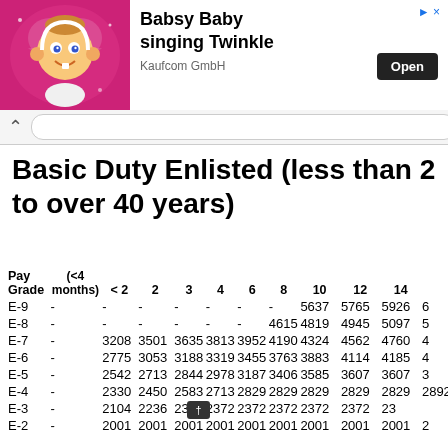[Figure (illustration): Advertisement banner: Babsy Baby singing Twinkle - Kaufcom GmbH with Open button]
Basic Duty Enlisted (less than 2 to over 40 years)
| Pay Grade | (<4 months) | < 2 | 2 | 3 | 4 | 6 | 8 | 10 | 12 | 14 |
| --- | --- | --- | --- | --- | --- | --- | --- | --- | --- | --- |
| E-9 | - | - | - | - | - | - | - | 5637 | 5765 | 5926 | 6… |
| E-8 | - | - | - | - | - | - | 4615 | 4819 | 4945 | 5097 | 5… |
| E-7 | - | 3208 | 3501 | 3635 | 3813 | 3952 | 4190 | 4324 | 4562 | 4760 | 4… |
| E-6 | - | 2775 | 3053 | 3188 | 3319 | 3455 | 3763 | 3883 | 4114 | 4185 | 4… |
| E-5 | - | 2542 | 2713 | 2844 | 2978 | 3187 | 3406 | 3585 | 3607 | 3607 | 3… |
| E-4 | - | 2330 | 2450 | 2583 | 2713 | 2829 | 2829 | 2829 | 2829 | 2829 | 2892… |
| E-3 | - | 2104 | 2236 | 2372 | 2372 | 2372 | 2372 | 2372 | 2372 | 23… |  |
| E-2 | - | 2001 | 2001 | 2001 | 2001 | 2001 | 2001 | 2001 | 2001 | 2001 | 2… |